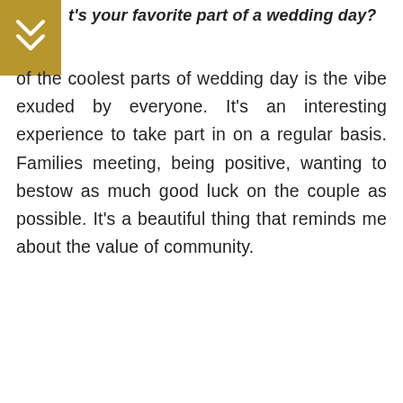t's your favorite part of a wedding day?
of the coolest parts of wedding day is the vibe exuded by everyone. It's an interesting experience to take part in on a regular basis. Families meeting, being positive, wanting to bestow as much good luck on the couple as possible. It's a beautiful thing that reminds me about the value of community.